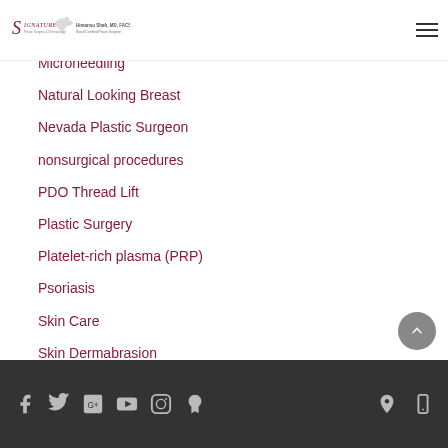Signature Plastic Surgery & Dermatology — Himansu Shah, MD, FACS — Board Certified Plastic Surgeon
Microneedling
Natural Looking Breast
Nevada Plastic Surgeon
nonsurgical procedures
PDO Thread Lift
Plastic Surgery
Platelet-rich plasma (PRP)
Psoriasis
Skin Care
Skin Dermabrasion
Social media icons: Facebook, Twitter, Google, YouTube, Instagram, Yelp; Location and Phone icons